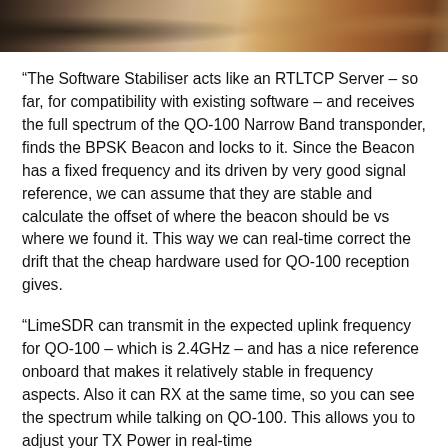[Figure (photo): Partial photo strip at top of page showing an outdoor scene with warm tones, partially cropped]
“The Software Stabiliser acts like an RTLTCP Server – so far, for compatibility with existing software – and receives the full spectrum of the QO-100 Narrow Band transponder, finds the BPSK Beacon and locks to it. Since the Beacon has a fixed frequency and its driven by very good signal reference, we can assume that they are stable and calculate the offset of where the beacon should be vs where we found it. This way we can real-time correct the drift that the cheap hardware used for QO-100 reception gives.
“LimeSDR can transmit in the expected uplink frequency for QO-100 – which is 2.4GHz – and has a nice reference onboard that makes it relatively stable in frequency aspects. Also it can RX at the same time, so you can see the spectrum while talking on QO-100. This allows you to adjust your TX Power in real-time